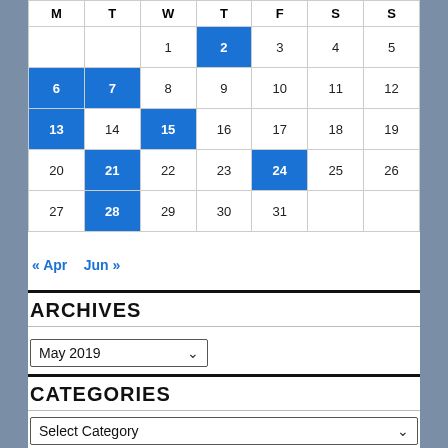| M | T | W | T | F | S | S |
| --- | --- | --- | --- | --- | --- | --- |
|  |  | 1 | 2 | 3 | 4 | 5 |
| 6 | 7 | 8 | 9 | 10 | 11 | 12 |
| 13 | 14 | 15 | 16 | 17 | 18 | 19 |
| 20 | 21 | 22 | 23 | 24 | 25 | 26 |
| 27 | 28 | 29 | 30 | 31 |  |  |
« Apr   Jun »
ARCHIVES
May 2019 ▾
CATEGORIES
Select Category ▾